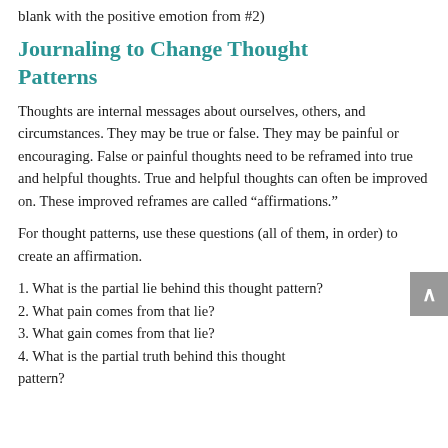blank with the positive emotion from #2)
Journaling to Change Thought Patterns
Thoughts are internal messages about ourselves, others, and circumstances. They may be true or false. They may be painful or encouraging. False or painful thoughts need to be reframed into true and helpful thoughts. True and helpful thoughts can often be improved on. These improved reframes are called “affirmations.”
For thought patterns, use these questions (all of them, in order) to create an affirmation.
1. What is the partial lie behind this thought pattern?
2. What pain comes from that lie?
3. What gain comes from that lie?
4. What is the partial truth behind this thought pattern?